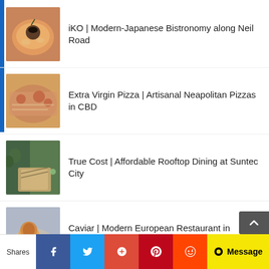iKO | Modern-Japanese Bistronomy along Neil Road
Extra Virgin Pizza | Artisanal Neapolitan Pizzas in CBD
True Cost | Affordable Rooftop Dining at Suntec City
Caviar | Modern European Restaurant in Orchard
Sofitel Singapore City Centre | A Boozy